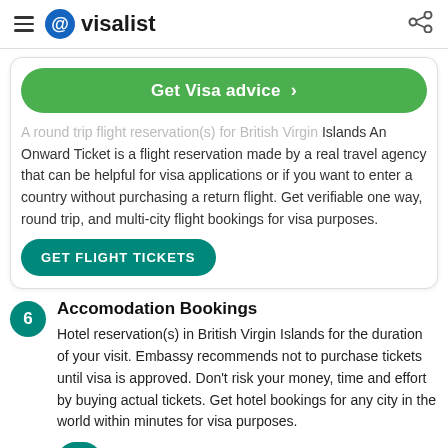visalist
Get Visa advice >
A round trip flight reservation(s) for British Virgin Islands An Onward Ticket is a flight reservation made by a real travel agency that can be helpful for visa applications or if you want to enter a country without purchasing a return flight. Get verifiable one way, round trip, and multi-city flight bookings for visa purposes.
GET FLIGHT TICKETS
Accomodation Bookings
Hotel reservation(s) in British Virgin Islands for the duration of your visit. Embassy recommends not to purchase tickets until visa is approved. Don't risk your money, time and effort by buying actual tickets. Get hotel bookings for any city in the world within minutes for visa purposes.